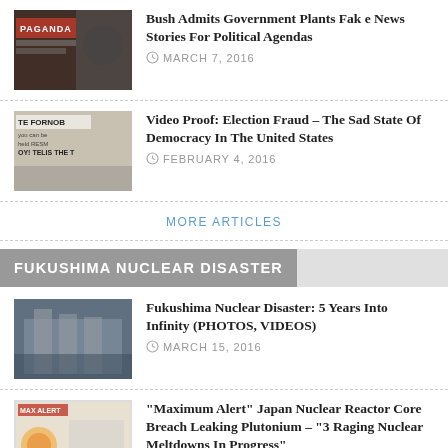[Figure (photo): Thumbnail image with text 'PAGANDA']
Bush Admits Government Plants Fake News Stories For Political Agendas
MARCH 7, 2016
[Figure (photo): Thumbnail image with text 'TE FOR NOB' and protest sign]
Video Proof: Election Fraud – The Sad State Of Democracy In The United States
FEBRUARY 4, 2016
MORE ARTICLES
FUKUSHIMA NUCLEAR DISASTER
[Figure (photo): Thumbnail of Fukushima nuclear reactor building]
Fukushima Nuclear Disaster: 5 Years Into Infinity (PHOTOS, VIDEOS)
MARCH 15, 2016
[Figure (photo): Thumbnail of nuclear alert image]
"Maximum Alert" Japan Nuclear Reactor Core Breach Leaking Plutonium – "3 Raging Nuclear Meltdowns In Progress"
FEBRUARY 11, 2016
[Figure (photo): Thumbnail image partial]
Rainwater in California Measured 181 Times The Acceptable Limit